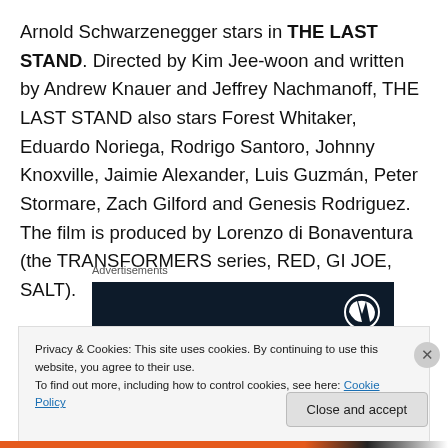Arnold Schwarzenegger stars in THE LAST STAND. Directed by Kim Jee-woon and written by Andrew Knauer and Jeffrey Nachmanoff, THE LAST STAND also stars Forest Whitaker, Eduardo Noriega, Rodrigo Santoro, Johnny Knoxville, Jaimie Alexander, Luis Guzmán, Peter Stormare, Zach Gilford and Genesis Rodriguez. The film is produced by Lorenzo di Bonaventura (the TRANSFORMERS series, RED, GI JOE, SALT).
Advertisements
[Figure (other): Dark advertisement banner with WordPress logo icon on the right]
Privacy & Cookies: This site uses cookies. By continuing to use this website, you agree to their use.
To find out more, including how to control cookies, see here: Cookie Policy